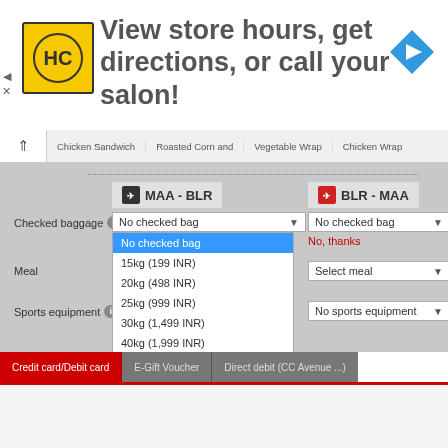[Figure (screenshot): Advertisement banner: HC logo (yellow), text 'View store hours, get directions, or call your salon!', blue navigation arrow icon]
Chicken Sandwich | Roasted Corn and | Vegetable Wrap | Chicken Wrap
[Figure (screenshot): Airline baggage booking UI screenshot showing MAA-BLR and BLR-MAA routes with checked baggage, meal, sports equipment dropdowns. Checked baggage dropdown open showing: No checked bag (selected), 15kg (199 INR), 20kg (498 INR), 25kg (999 INR), 30kg (1,499 INR), 40kg (1,999 INR). Payment tabs: Credit card/Debit card (active), E-Gift Voucher, Direct debit (CC Avenue...). Processing fee: 319 INR. BIG LOYALTY logo.]